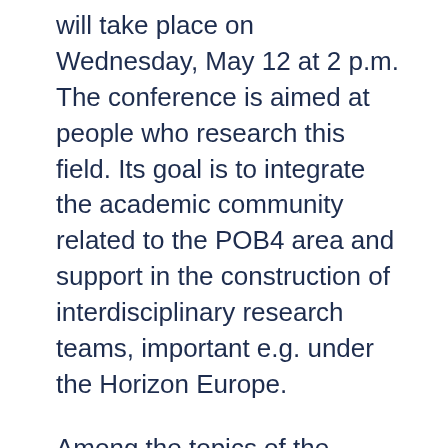will take place on Wednesday, May 12 at 2 p.m. The conference is aimed at people who research this field. Its goal is to integrate the academic community related to the POB4 area and support in the construction of interdisciplinary research teams, important e.g. under the Horizon Europe.
Among the topics of the conference, the following issues will be discussed: development of road and off-road means of transport, autonomous transport systems, improvement of traffic safety, modern aircraft structures, new air navigation and